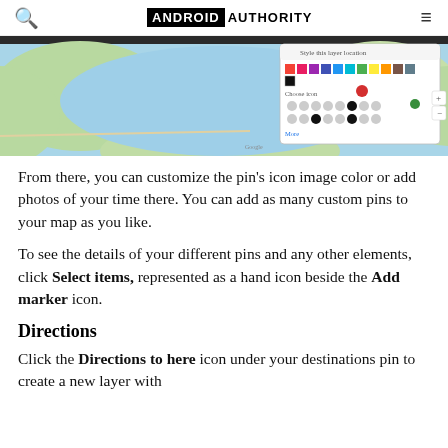ANDROID AUTHORITY
[Figure (screenshot): Google Maps screenshot showing a coastal map with a color picker popup dialog for customizing a pin's icon color. The popup displays a rainbow color palette and various icon shape options.]
From there, you can customize the pin's icon image color or add photos of your time there. You can add as many custom pins to your map as you like.
To see the details of your different pins and any other elements, click Select items, represented as a hand icon beside the Add marker icon.
Directions
Click the Directions to here icon under your destinations pin to create a new layer with